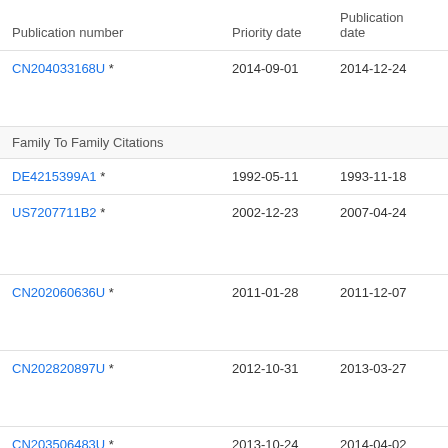| Publication number | Priority date | Publication date | Ass… |
| --- | --- | --- | --- |
| CN204033168U * | 2014-09-01 | 2014-12-24 | ㊗㊗㊗㊗ ㊗㊗㊗ |
| Family To Family Citations |  |  |  |
| DE4215399A1 * | 1992-05-11 | 1993-11-18 | Bra… |
| US7207711B2 * | 2002-12-23 | 2007-04-24 | Pre Fed L.L… |
| CN202060636U * | 2011-01-28 | 2011-12-07 | ㊗㊗㊗㊗ ㊗㊗㊗ |
| CN202820897U * | 2012-10-31 | 2013-03-27 | ㊗㊗㊗㊗ ㊗㊗㊗ |
| CN203506483U * | 2013-10-24 | 2014-04-02 | ㊗㊗㊗ |
| CN203709876U * | 2014-03-18 | 2014-07-16 | ㊗㊗㊗㊗ ㊗㊗㊗ |